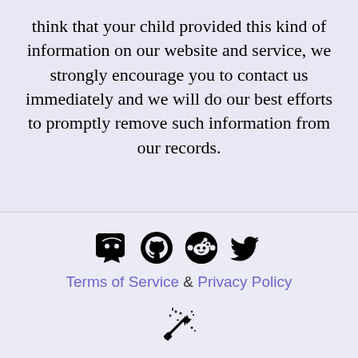think that your child provided this kind of information on our website and service, we strongly encourage you to contact us immediately and we will do our best efforts to promptly remove such information from our records.
[Figure (infographic): Row of four social media icons: Discord, GitHub, Reddit, Twitter]
Terms of Service & Privacy Policy
[Figure (logo): Magic wand / sparkle logo icon]